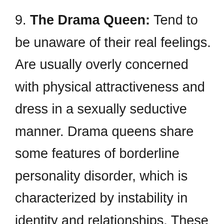9. The Drama Queen: Tend to be unaware of their real feelings. Are usually overly concerned with physical attractiveness and dress in a sexually seductive manner. Drama queens share some features of borderline personality disorder, which is characterized by instability in identity and relationships. These people experience intense mood swings. "You often feel when you're with them they're terribly engaged with you and